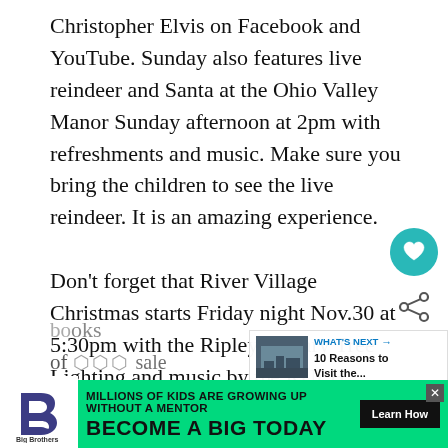Christopher Elvis on Facebook and YouTube. Sunday also features live reindeer and Santa at the Ohio Valley Manor Sunday afternoon at 2pm with refreshments and music. Make sure you bring the children to see the live reindeer. It is an amazing experience.
Don't forget that River Village Christmas starts Friday night Nov.30 at 5:30pm with the Ripley Library Tree Lighting and music by the RULH Elementary School. This if followed by the free Hot Chocolate Social and Friends of the Library Book Sale at the Library. Be sure to stock up on your winter ready at the books of sale
[Figure (screenshot): UI overlay showing a teal circular heart/favorite button and a share icon (less-than symbol with dots)]
[Figure (infographic): What's Next recommendation widget showing a building thumbnail image and text '10 Reasons to Visit the...']
[Figure (infographic): Big Brothers Big Sisters advertisement banner: green background with logo, text 'MILLIONS OF KIDS ARE GROWING UP WITHOUT A MENTOR' and 'BECOME A BIG TODAY' with Learn How button]